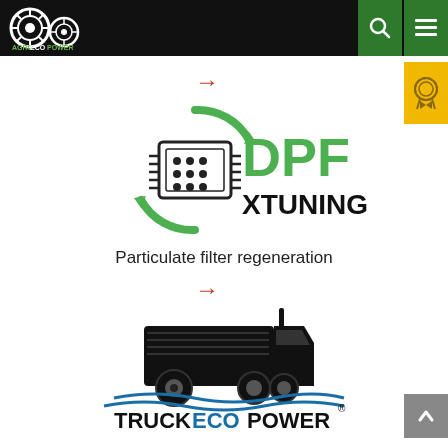[Figure (logo): AGROECOPOWER logo with tractor wheels on black header bar]
[Figure (logo): DPF XTUNING logo with green recycling arrows around ECU chip icon, green DPF text and black XTUNING text]
Particulate filter regeneration
[Figure (logo): TRUCKECOPOWER logo with black semi truck illustration and blue wave, TRUCK in black bold and ECOPOWER in blue bold with registered trademark symbol]